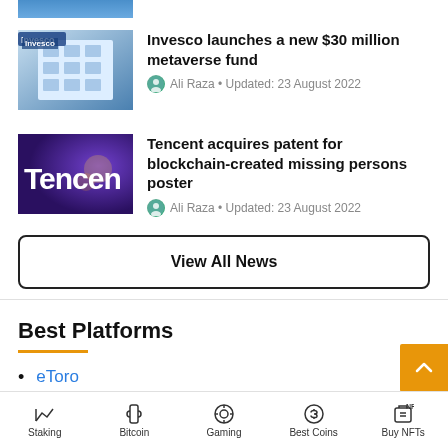[Figure (photo): Partial top image of Invesco building or logo, partially cropped at top]
Invesco launches a new $30 million metaverse fund
Ali Raza • Updated: 23 August 2022
Tencent acquires patent for blockchain-created missing persons poster
Ali Raza • Updated: 23 August 2022
View All News
Best Platforms
eToro
Bitstamp
Coinbase
Staking   Bitcoin   Gaming   Best Coins   Buy NFTs